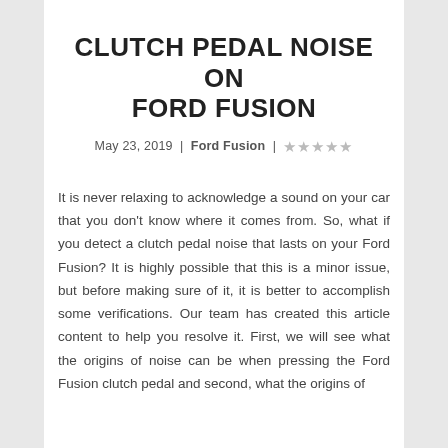CLUTCH PEDAL NOISE ON FORD FUSION
May 23, 2019 | Ford Fusion | ★★★★★
It is never relaxing to acknowledge a sound on your car that you don't know where it comes from. So, what if you detect a clutch pedal noise that lasts on your Ford Fusion? It is highly possible that this is a minor issue, but before making sure of it, it is better to accomplish some verifications. Our team has created this article content to help you resolve it. First, we will see what the origins of noise can be when pressing the Ford Fusion clutch pedal and second, what the origins of